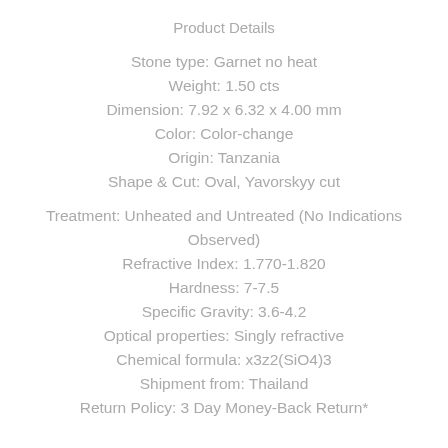Product Details
Stone type: Garnet no heat
Weight: 1.50 cts
Dimension: 7.92 x 6.32 x 4.00 mm
Color: Color-change
Origin: Tanzania
Shape & Cut: Oval, Yavorskyy cut
Treatment: Unheated and Untreated (No Indications Observed)
Refractive Index: 1.770-1.820
Hardness: 7-7.5
Specific Gravity: 3.6-4.2
Optical properties: Singly refractive
Chemical formula: x3z2(SiO4)3
Shipment from: Thailand
Return Policy: 3 Day Money-Back Return*